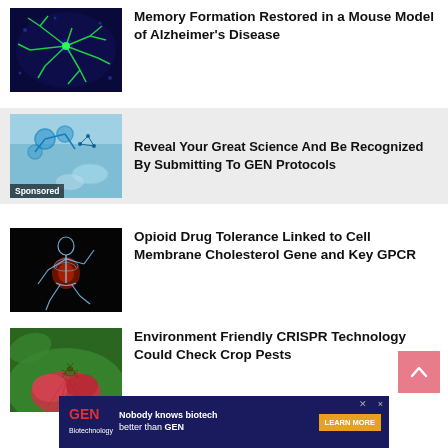[Figure (photo): Fluorescent microscopy image of neurons (green on dark blue background) representing Alzheimer's research]
Memory Formation Restored in a Mouse Model of Alzheimer's Disease
[Figure (photo): Lab scene with blue molecular/DNA structures and scientific equipment (sponsored ad image)]
Reveal Your Great Science And Be Recognized By Submitting To GEN Protocols
[Figure (photo): X-ray style glowing skeleton of a running figure on black background representing opioid/pain research]
Opioid Drug Tolerance Linked to Cell Membrane Cholesterol Gene and Key GPCR
[Figure (photo): Close-up of a small insect on a red/pink flower representing crop pest research]
Environment Friendly CRISPR Technology Could Check Crop Pests
[Figure (logo): GEN Biotechnology logo with ad: Nobody knows biotech better than GEN — LEARN MORE button]